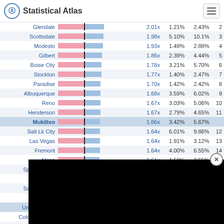Statistical Atlas
| City | Bar | Ratio | Pct1 | Pct2 | Rank |
| --- | --- | --- | --- | --- | --- |
| Glendale |  | 2.01x | 1.21% | 2.43% | 2 |
| Scottsdale |  | 1.98x | 5.10% | 10.1% | 3 |
| Modesto |  | 1.93x | 1.49% | 2.88% | 4 |
| Gilbert |  | 1.86x | 2.39% | 4.44% | 5 |
| Boise City |  | 1.78x | 3.21% | 5.70% | 6 |
| Stockton |  | 1.77x | 1.40% | 2.47% | 7 |
| Paradise |  | 1.70x | 1.42% | 2.42% | 8 |
| Albuquerque |  | 1.68x | 3.59% | 6.02% | 9 |
| Reno |  | 1.67x | 3.03% | 5.06% | 10 |
| Henderson |  | 1.67x | 2.79% | 4.65% | 11 |
| Mukilteo |  | 1.66x | 3.42% | 5.67% |  |
| Salt Lk City |  | 1.64x | 6.01% | 9.86% | 12 |
| Las Vegas |  | 1.64x | 1.91% | 3.12% | 13 |
| Fremont |  | 1.64x | 4.00% | 6.55% | 14 |
| Mesa |  | 1.61x | 1.58% | 2.55% | 15 |
| Spring Valley |  | 1.61x | 1.38% | 2.23% | 16 |
| Spokane |  | 1.60x | 2.91% | 4.67% | 17 |
| Santa Clarita |  | 1.60x | 2.03% | 3.24% | 18 |
| Chandler |  | 1. |  |  |  |
| United States |  | 1. |  |  |  |
| Colorado Spgs |  | 1. |  |  |  |
| Fresno |  | 1. |  |  |  |
| Washington |  | 1. |  |  |  |
| San Diego |  | 1. |  |  |  |
| West |  | 1. |  |  |  |